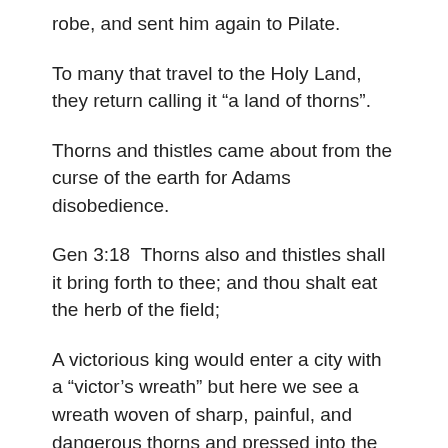robe, and sent him again to Pilate.
To many that travel to the Holy Land, they return calling it “a land of thorns”.
Thorns and thistles came about from the curse of the earth for Adams disobedience.
Gen 3:18  Thorns also and thistles shall it bring forth to thee; and thou shalt eat the herb of the field;
A victorious king would enter a city with a “victor’s wreath” but here we see a wreath woven of sharp, painful, and dangerous thorns and pressed into the skull of the Lord Jesus.
The Lord Jesus had great joy as He would soon be taking